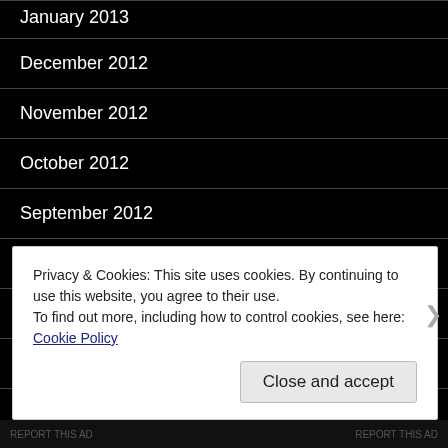January 2013
December 2012
November 2012
October 2012
September 2012
August 2012
July 2012
June 2012
May 2012
Privacy & Cookies: This site uses cookies. By continuing to use this website, you agree to their use.
To find out more, including how to control cookies, see here: Cookie Policy
Close and accept